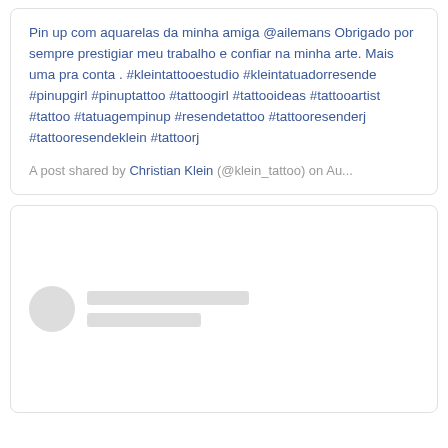Pin up com aquarelas da minha amiga @ailemans Obrigado por sempre prestigiar meu trabalho e confiar na minha arte. Mais uma pra conta . #kleintattooestudio #kleintatuadorresende #pinupgirl #pinuptattoo #tattoogirl #tattooideas #tattooartist #tattoo #tatuagempinup #resendetattoo #tattoorr #tattooresenderj #tattooresendeklein #tattoorj
A post shared by Christian Klein (@klein_tattoo) on Au...
[Figure (other): Loading skeleton placeholder for a social media post: circular avatar placeholder on the left with two grey rectangular skeleton lines to the right.]